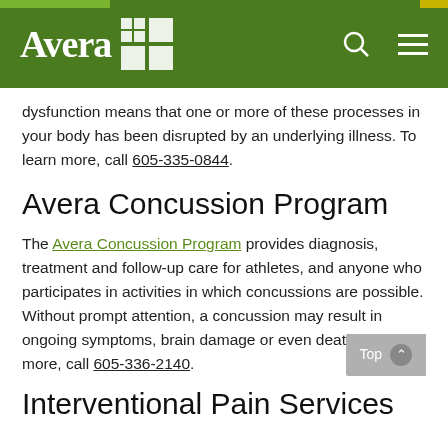Avera
dysfunction means that one or more of these processes in your body has been disrupted by an underlying illness. To learn more, call 605-335-0844.
Avera Concussion Program
The Avera Concussion Program provides diagnosis, treatment and follow-up care for athletes, and anyone who participates in activities in which concussions are possible. Without prompt attention, a concussion may result in ongoing symptoms, brain damage or even death. To learn more, call 605-336-2140.
Interventional Pain Services